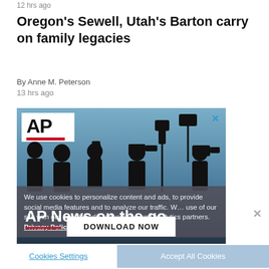12 hrs ago
Oregon's Sewell, Utah's Barton carry on family legacies
By Anne M. Peterson
13 hrs ago
[Figure (screenshot): AP News app advertisement overlaid with cookie consent popup. Shows silhouettes of camera operators and media equipment against a blue sky. AP logo in white box top-left. Text reads 'AP News on the go' with a red underline and 'DOWNLOAD NOW' button. Cookie overlay reads: 'We use cookies to personalize content and ads, to provide social media features and to analyze our traffic. W... use of our site with our social media, advertising and analytics partners. Privacy Policy']
Cookies Settings
Accept All Cookies
AP Top 25 Poll